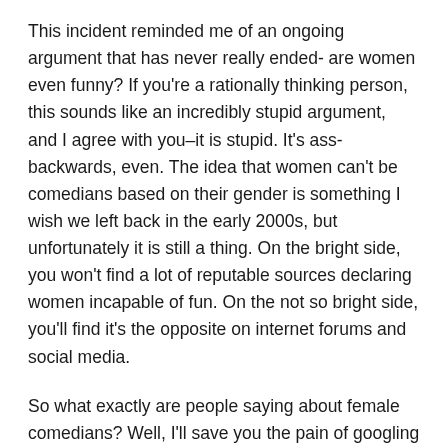This incident reminded me of an ongoing argument that has never really ended- are women even funny? If you're a rationally thinking person, this sounds like an incredibly stupid argument, and I agree with you–it is stupid. It's ass-backwards, even. The idea that women can't be comedians based on their gender is something I wish we left back in the early 2000s, but unfortunately it is still a thing. On the bright side, you won't find a lot of reputable sources declaring women incapable of fun. On the not so bright side, you'll find it's the opposite on internet forums and social media.
So what exactly are people saying about female comedians? Well, I'll save you the pain of googling it yourself. (You'll have to take my word for it. I don't want to link where I found these remarks–they're